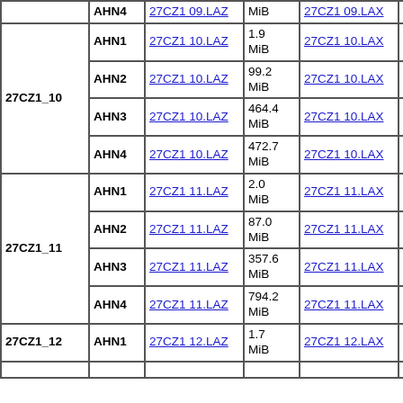| Tile | AHN | LAZ file | LAZ size | LAX file | LAX size |  |
| --- | --- | --- | --- | --- | --- | --- |
|  | AHN4 | 27CZ1 09.LAZ | MiB | 27CZ1 09.LAX | kiB | 2 |
| 27CZ1_10 | AHN1 | 27CZ1 10.LAZ | 1.9 MiB | 27CZ1 10.LAX | 5 kiB | 2 |
| 27CZ1_10 | AHN2 | 27CZ1 10.LAZ | 99.2 MiB | 27CZ1 10.LAX | 57 kiB | 2 |
| 27CZ1_10 | AHN3 | 27CZ1 10.LAZ | 464.4 MiB | 27CZ1 10.LAX | 100 kiB | 2 |
| 27CZ1_10 | AHN4 | 27CZ1 10.LAZ | 472.7 MiB | 27CZ1 10.LAX | 100 kiB | 2 |
| 27CZ1_11 | AHN1 | 27CZ1 11.LAZ | 2.0 MiB | 27CZ1 11.LAX | 4 kiB | 2 |
| 27CZ1_11 | AHN2 | 27CZ1 11.LAZ | 87.0 MiB | 27CZ1 11.LAX | 52 kiB | 2 |
| 27CZ1_11 | AHN3 | 27CZ1 11.LAZ | 357.6 MiB | 27CZ1 11.LAX | 99 kiB | 2 |
| 27CZ1_11 | AHN4 | 27CZ1 11.LAZ | 794.2 MiB | 27CZ1 11.LAX | 100 kiB | 2 |
| 27CZ1_12 | AHN1 | 27CZ1 12.LAZ | 1.7 MiB | 27CZ1 12.LAX | 4 kiB | 2 |